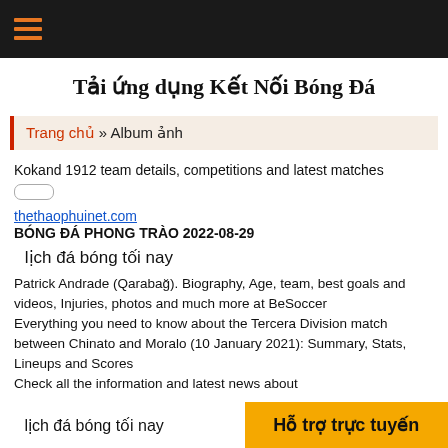≡
Tải ứng dụng Kết Nối Bóng Đá
Trang chủ » Album ảnh
Kokand 1912 team details, competitions and latest matches
thethaophuinet.com
BÓNG ĐÁ PHONG TRÀO 2022-08-29
lịch đá bóng tối nay
Patrick Andrade (Qarabağ). Biography, Age, team, best goals and videos, Injuries, photos and much more at BeSoccer
Everything you need to know about the Tercera Division match between Chinato and Moralo (10 January 2021): Summary, Stats, Lineups and Scores
Check all the information and latest news about
lịch đá bóng tối nay
Hỗ trợ trực tuyến